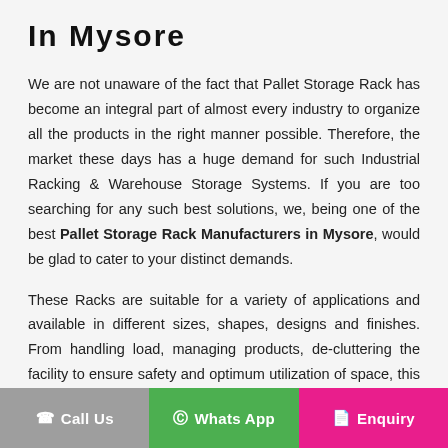In Mysore
We are not unaware of the fact that Pallet Storage Rack has become an integral part of almost every industry to organize all the products in the right manner possible. Therefore, the market these days has a huge demand for such Industrial Racking & Warehouse Storage Systems. If you are too searching for any such best solutions, we, being one of the best Pallet Storage Rack Manufacturers in Mysore, would be glad to cater to your distinct demands.
These Racks are suitable for a variety of applications and available in different sizes, shapes, designs and finishes. From handling load, managing products, de-cluttering the facility to ensure safety and optimum utilization of space, this Pallet Storage Rack can do wonders in all means. Their managing cost is very much less as compared to other storing and shelving options available in the market
Call Us  Whats App  Enquiry